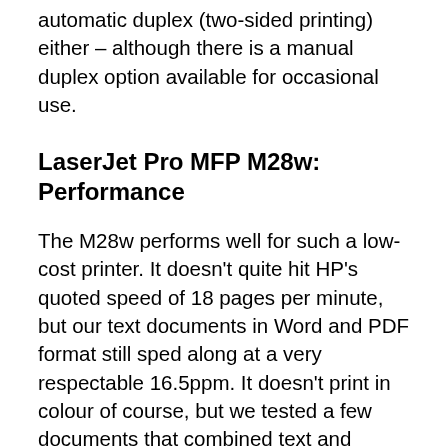automatic duplex (two-sided printing) either – although there is a manual duplex option available for occasional use.
LaserJet Pro MFP M28w: Performance
The M28w performs well for such a low-cost printer. It doesn't quite hit HP's quoted speed of 18 pages per minute, but our text documents in Word and PDF format still sped along at a very respectable 16.5ppm. It doesn't print in colour of course, but we tested a few documents that combined text and graphics, and the M28w still managed 15ppm, so you can use it for handouts and other documents that don't require colour graphics.